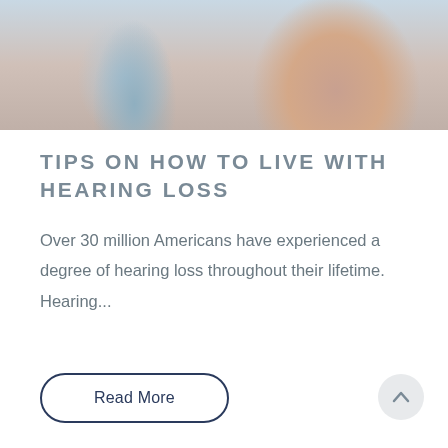[Figure (photo): Partial photo of a healthcare provider and an elderly patient, cropped at top showing torsos and partial face of older person touching their ear.]
TIPS ON HOW TO LIVE WITH HEARING LOSS
Over 30 million Americans have experienced a degree of hearing loss throughout their lifetime. Hearing...